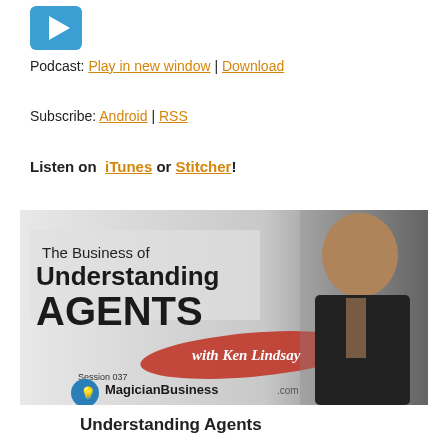[Figure (other): Blue play button icon for podcast player]
Podcast: Play in new window | Download
Subscribe: Android | RSS
Listen on iTunes or Stitcher!
[Figure (illustration): Podcast banner image: The Business of Understanding AGENTS with Ken Lindsay, Session 037 MagicianBusiness.com, featuring a man in a magician's suit holding a rabbit]
Understanding Agents